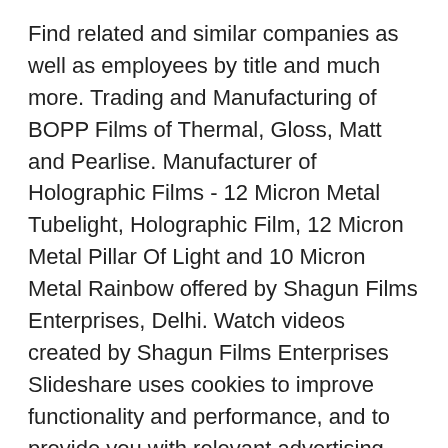Find related and similar companies as well as employees by title and much more. Trading and Manufacturing of BOPP Films of Thermal, Gloss, Matt and Pearlise. Manufacturer of Holographic Films - 12 Micron Metal Tubelight, Holographic Film, 12 Micron Metal Pillar Of Light and 10 Micron Metal Rainbow offered by Shagun Films Enterprises, Delhi. Watch videos created by Shagun Films Enterprises Slideshare uses cookies to improve functionality and performance, and to provide you with relevant advertising.
The company was established in the year 2000. Our Immense industry experience and sophisticated infrastructure facilities make us unique in the industry. Shagun Films Enetrprises, New Delhi. 430